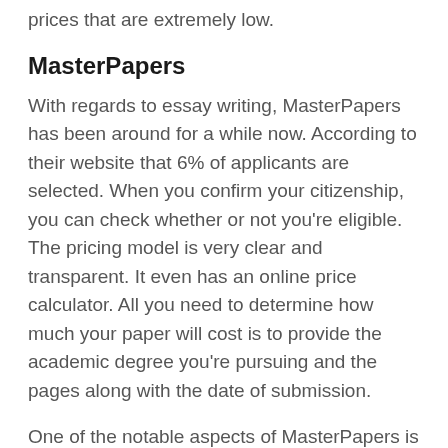prices that are extremely low.
MasterPapers
With regards to essay writing, MasterPapers has been around for a while now. According to their website that 6% of applicants are selected. When you confirm your citizenship, you can check whether or not you're eligible. The pricing model is very clear and transparent. It even has an online price calculator. All you need to determine how much your paper will cost is to provide the academic degree you're pursuing and the pages along with the date of submission.
One of the notable aspects of MasterPapers is the dedication to timely delivery. MasterPapers won't accept orders from writers who fail to complete their work by the time specified. This is a sign that the writer's service is reliable. They don't provide refunds on revisions, or free